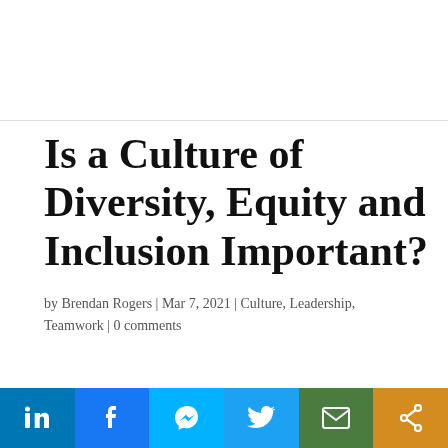Is a Culture of Diversity, Equity and Inclusion Important?
by Brendan Rogers | Mar 7, 2021 | Culture, Leadership, Teamwork | 0 comments